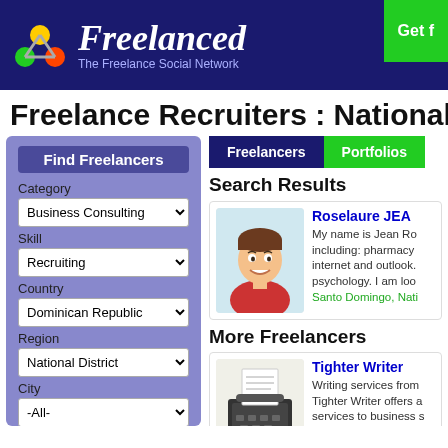Freelanced - The Freelance Social Network
Freelance Recruiters : National D
Find Freelancers
Category: Business Consulting, Skill: Recruiting, Country: Dominican Republic, Region: National District, City: -All-, Keyword:
Search Results
Roselaure JEA - My name is Jean Ro including: pharmacy internet and outlook. psychology. I am loo - Santo Domingo, Nati
More Freelancers
Tighter Writer - Writing services from Tighter Writer offers a services to business s